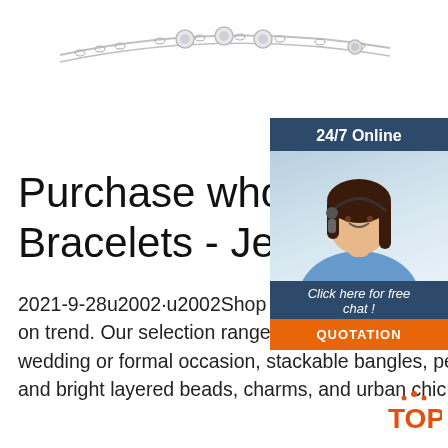[Figure (photo): Jewelry necklace with chain and crystal bezel pendants on white background]
[Figure (infographic): 24/7 Online customer support widget with photo of woman with headset, Click here for free chat text, and orange QUOTATION button]
Purchase wholesale Bracelets - Jewelry On
2021-9-28u2002·u2002Shop our stylish affordable wholesale bracelets to keep your customers on trend. Our selection ranges from chunky metal cuffs, a stunning array of dazzling rhinestones for any wedding or formal occasion, stackable bangles, pearls, handmade tribal, boho tassels, bold and bright layered beads, charms, and urban chic chains.
[Figure (logo): TOP logo in orange with decorative dots]